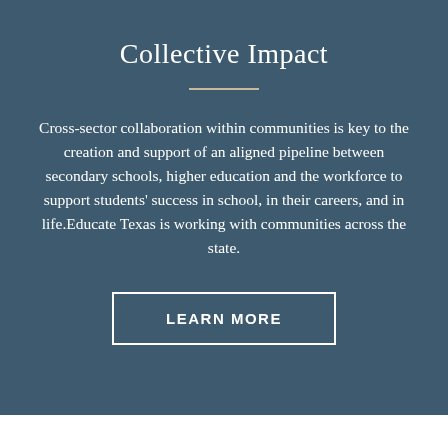Collective Impact
Cross-sector collaboration within communities is key to the creation and support of an aligned pipeline between secondary schools, higher education and the workforce to support students' success in school, in their careers, and in life.Educate Texas is working with communities across the state.
LEARN MORE